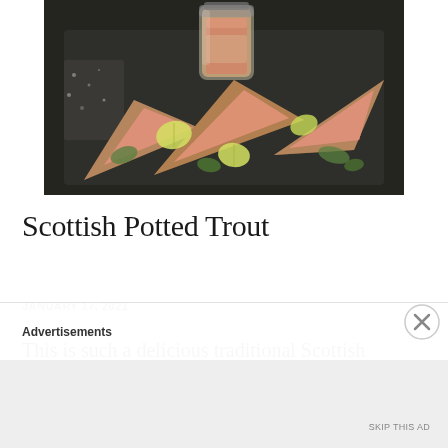[Figure (photo): Food photograph of Scottish potted trout served on dark slate with whole grain toast triangles, lemon wedges, fresh herbs, and a glass jar of potted trout spread in the background]
Scottish Potted Trout
JANUARY 17, 2021
This is such a delicious traditional Scottish recipe for potted trout and very easy to
Advertisements
SKIP THIS AD